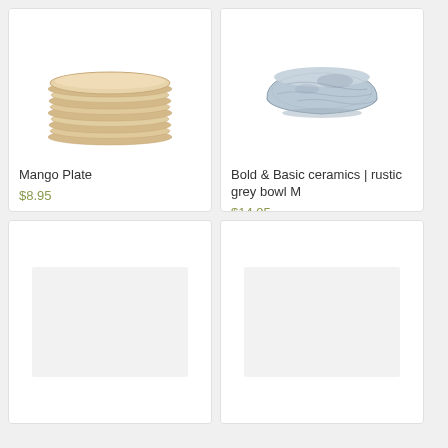[Figure (photo): Stack of flat round mango wood plates, beige/tan color]
Mango Plate
$8.95
Quick shop
Add to cart
[Figure (photo): A rustic grey ceramic bowl with mottled glaze finish]
Bold & Basic ceramics | rustic grey bowl M
$14.95
Quick shop
Add to cart
[Figure (photo): Product image placeholder (loading or empty)]
[Figure (photo): Product image placeholder (loading or empty)]